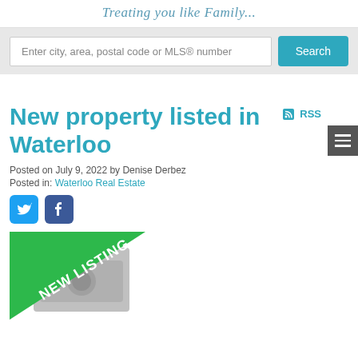Treating you like Family...
Enter city, area, postal code or MLS® number
New property listed in Waterloo
Posted on July 9, 2022 by Denise Derbez
Posted in: Waterloo Real Estate
[Figure (screenshot): Social media share icons: Twitter and Facebook]
[Figure (photo): Property listing photo placeholder with NEW LISTING banner in green diagonal across the top-left corner and a camera icon placeholder below]